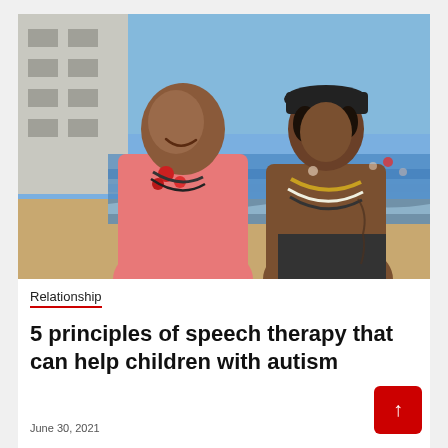[Figure (photo): Two men wearing flower leis standing on a beach near the water. The man on the left wears a pink sleeveless shirt and has a red flower lei; the man on the right is shirtless wearing a layered shell/bead lei and a dark cap. Warm golden light, ocean waves and other swimmers visible in background.]
Relationship
5 principles of speech therapy that can help children with autism
June 30, 2021